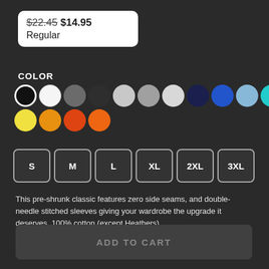$22.45 $14.95
Regular
COLOR
[Figure (other): Color swatches: black (selected), white, dark gray, charcoal, light gray, medium gray, silver, navy, blue, light blue, teal/cyan, pink, hot pink, yellow, amber/gold, orange-red, orange]
[Figure (other): Size selector buttons: S, M, L, XL, 2XL, 3XL]
This pre-shrunk classic features zero side seams, and double-needle stitched sleeves giving your wardrobe the upgrade it deserves. 100% cotton (except Heathers)
More Product Information & Size Chart
ADD TO CART